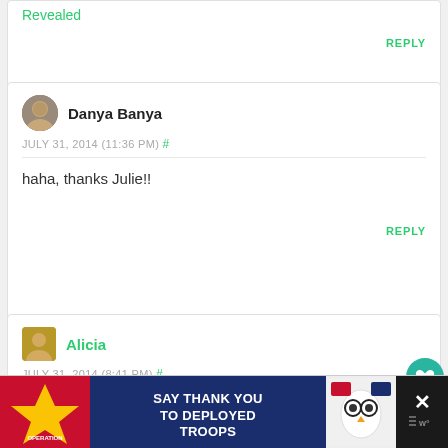Revealed
REPLY
Danya Banya
JULY 31, 2014 (11:36 PM) #
haha, thanks Julie!!
REPLY
Alicia
JULY 31, 2014 (8:41 PM) #
Just a bit cool, what kid wouldn't like
[Figure (infographic): Operation Gratitude ad banner: SAY THANK YOU TO DEPLOYED TROOPS]
[Figure (infographic): Close/share overlay buttons on right side]